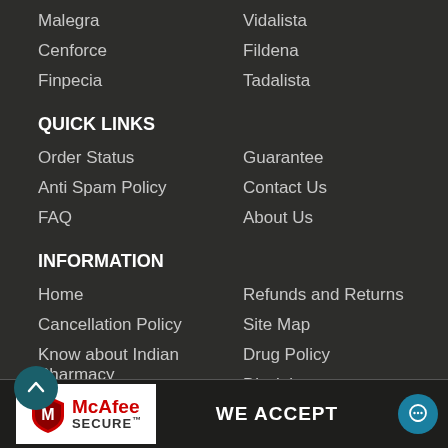Malegra
Vidalista
Cenforce
Fildena
Finpecia
Tadalista
QUICK LINKS
Order Status
Guarantee
Anti Spam Policy
Contact Us
FAQ
About Us
INFORMATION
Home
Refunds and Returns
Cancellation Policy
Site Map
Know about Indian Pharmacy
Drug Policy
Become An Affiliate
Disclaimer
Details on Indian Pharmacies
Terms And Conditions
[Figure (logo): McAfee SECURE logo with shield icon]
WE ACCEPT